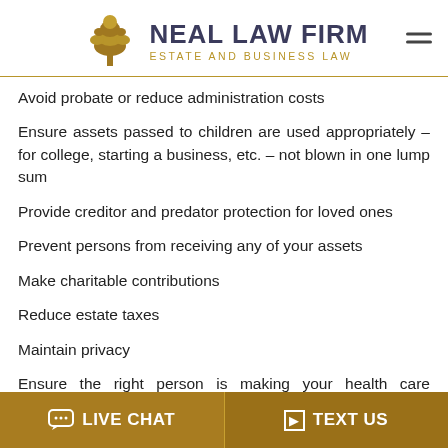NEAL LAW FIRM ESTATE AND BUSINESS LAW
Avoid probate or reduce administration costs
Ensure assets passed to children are used appropriately – for college, starting a business, etc. – not blown in one lump sum
Provide creditor and predator protection for loved ones
Prevent persons from receiving any of your assets
Make charitable contributions
Reduce estate taxes
Maintain privacy
Ensure the right person is making your health care decisions if you can't do so yourself.
LIVE CHAT   TEXT US